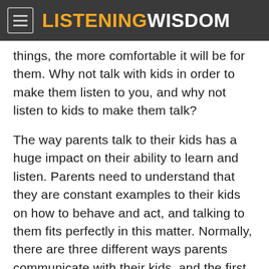LISTENINGWISDOM
things, the more comfortable it will be for them. Why not talk with kids in order to make them listen to you, and why not listen to kids to make them talk?
The way parents talk to their kids has a huge impact on their ability to learn and listen. Parents need to understand that they are constant examples to their kids on how to behave and act, and talking to them fits perfectly in this matter. Normally, there are three different ways parents communicate with their kids, and the first one is the aggressive way. This usually involves yelling